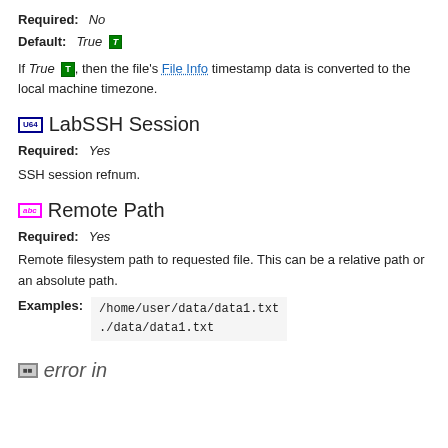Required: No
Default: True [T]
If True [T], then the file's File Info timestamp data is converted to the local machine timezone.
[U64] LabSSH Session
Required: Yes
SSH session refnum.
[abc] Remote Path
Required: Yes
Remote filesystem path to requested file. This can be a relative path or an absolute path.
Examples: /home/user/data/data1.txt
./data/data1.txt
error in